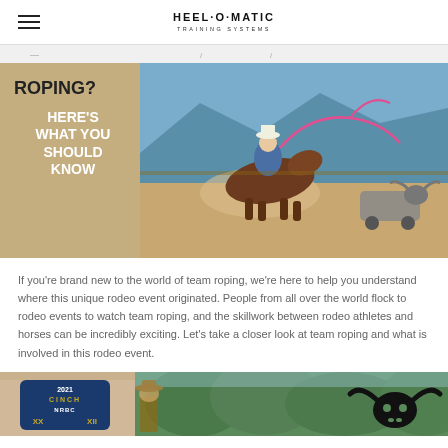HEEL-O-MATIC TRAINING SYSTEMS
[Figure (photo): Hero banner image: left side tan/beige background with bold text 'ROPING? HERE'S WHAT YOU SHOULD KNOW'; right side action photo of a cowboy on horseback roping a mechanical steer dummy in an arena with mountains in background]
If you're brand new to the world of team roping, we're here to help you understand where this unique rodeo event originated. People from all over the world flock to rodeo events to watch team roping, and the skillwork between rodeo athletes and horses can be incredibly exciting. Let's take a closer look at team roping and what is involved in this rodeo event.
[Figure (photo): Bottom partial image: left side shows a 2021 Cinch NRBC logo/sign on brick wall; right side shows a person in a hat with green trees and a bull skull silhouette in background]